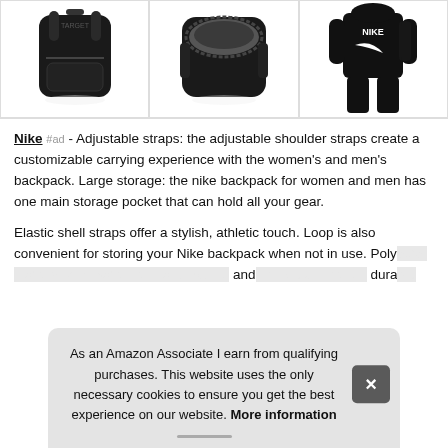[Figure (photo): Three product images showing Nike backpacks - a black backpack (front view), a black backpack (open top view), and a person wearing a Nike outfit with a backpack]
Nike #ad - Adjustable straps: the adjustable shoulder straps create a customizable carrying experience with the women's and men's backpack. Large storage: the nike backpack for women and men has one main storage pocket that can hold all your gear.
Elastic shell straps offer a stylish, athletic touch. Loop is also convenient for storing your Nike backpack when not in use. Poly... and... dura...
As an Amazon Associate I earn from qualifying purchases. This website uses the only necessary cookies to ensure you get the best experience on our website. More information